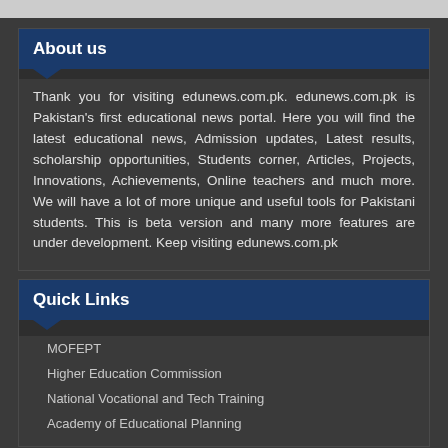About us
Thank you for visiting edunews.com.pk. edunews.com.pk is Pakistan's first educational news portal. Here you will find the latest educational news, Admission updates, Latest results, scholarship opportunities, Students corner, Articles, Projects, Innovations, Achievements, Online teachers and much more. We will have a lot of more unique and useful tools for Pakistani students. This is beta version and many more features are under development. Keep visiting edunews.com.pk
Quick Links
MOFEPT
Higher Education Commission
National Vocational and Tech Training
Academy of Educational Planning